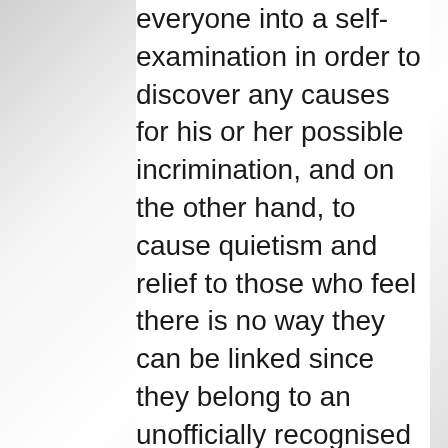everyone into a self-examination in order to discover any causes for his or her possible incrimination, and on the other hand, to cause quietism and relief to those who feel there is no way they can be linked since they belong to an unofficially recognised political factor, the one of "ideologues" or "serious people". The ministry is thus creating a morbid atmosphere of confession,